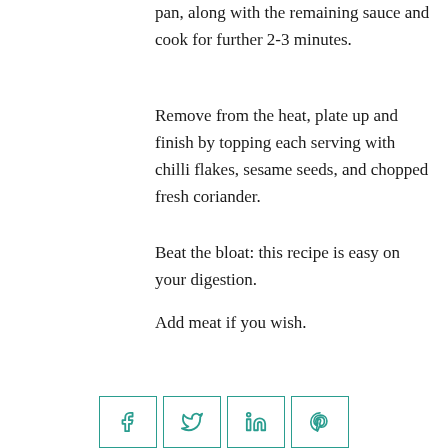pan, along with the remaining sauce and cook for further 2-3 minutes.
Remove from the heat, plate up and finish by topping each serving with chilli flakes, sesame seeds, and chopped fresh coriander.
Beat the bloat: this recipe is easy on your digestion.
Add meat if you wish.
[Figure (other): TOP button with border, and social sharing icons row (Facebook, Twitter, LinkedIn, Pinterest) with teal borders at bottom]
Social sharing icons: Facebook, Twitter, LinkedIn, Pinterest